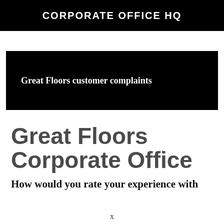CORPORATE OFFICE HQ
[Figure (other): Black banner with text 'Great Floors customer complaints' in white serif bold font]
Great Floors Corporate Office
How would you rate your experience with